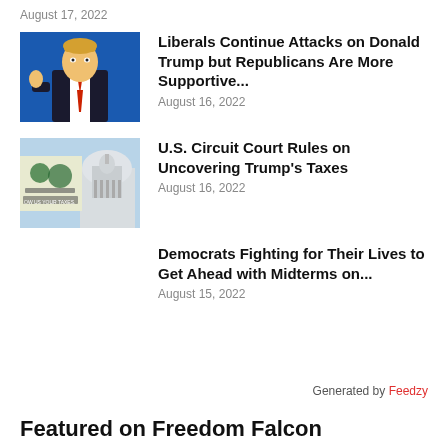August 17, 2022
[Figure (photo): Donald Trump in a suit giving thumbs up, blue background]
Liberals Continue Attacks on Donald Trump but Republicans Are More Supportive...
August 16, 2022
[Figure (photo): Show Us Your Taxes sign with US Capitol building in background]
U.S. Circuit Court Rules on Uncovering Trump's Taxes
August 16, 2022
Democrats Fighting for Their Lives to Get Ahead with Midterms on...
August 15, 2022
Generated by Feedzy
Featured on Freedom Falcon